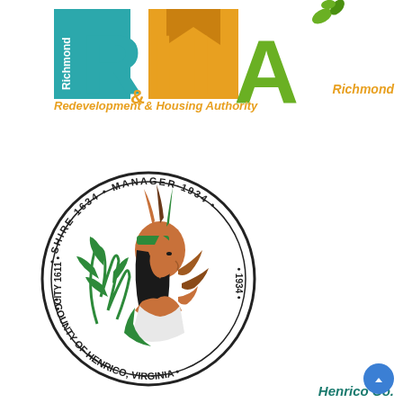[Figure (logo): Richmond Redevelopment & Housing Authority (RHA) logo with teal R, yellow H, green A letters and leaf motif, with 'Richmond' text in white on teal and orange text below]
[Figure (logo): Henrico County Virginia official seal — circular seal showing Native American woman with feathered headdress, corn plants, text: SHIRE 1634, MANAGER 1934, CITY 1611, COUNTY OF HENRICO, VIRGINIA]
Henrico Co.